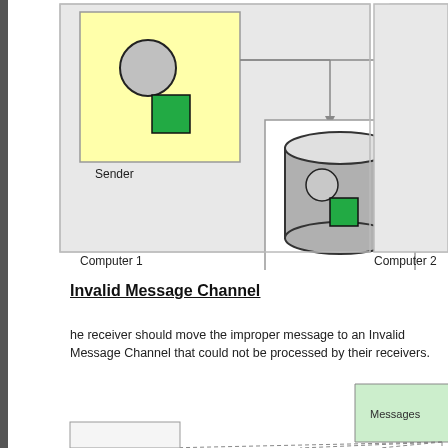[Figure (engineering-diagram): Messaging diagram showing Sender component (yellow box with circle and green square) on Computer 1 connected via arrows to two Disk components on Computer 1 and Computer 2. Disks are gray cylinders containing circle and green square icons. Labels: Sender, Disk, Computer 1, Computer 2.]
Invalid Message Channel
he receiver should move the improper message to an Invalid Message Channel that could not be processed by their receivers.
[Figure (engineering-diagram): Diagram showing a Messages document shape at top with dashed lines fanning down to multiple receivers. Partial view showing bottom portion of diagram cut off.]